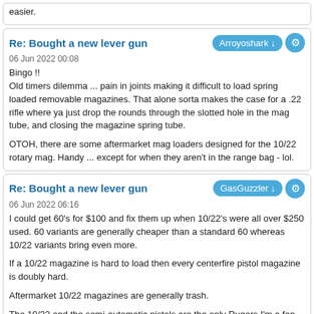easier.
Re: Bought a new lever gun
06 Jun 2022 00:08
Arroyoshark ↓
Bingo !!
Old timers dilemma ... pain in joints making it difficult to load spring loaded removable magazines. That alone sorta makes the case for a .22 rifle where ya just drop the rounds through the slotted hole in the mag tube, and closing the magazine spring tube.

OTOH, there are some aftermarket mag loaders designed for the 10/22 rotary mag. Handy ... except for when they aren't in the range bag - lol.
Re: Bought a new lever gun
06 Jun 2022 06:16
GasGuzzler ↓
I could get 60's for $100 and fix them up when 10/22's were all over $250 used. 60 variants are generally cheaper than a standard 60 whereas 10/22 variants bring even more.

If a 10/22 magazine is hard to load then every centerfire pistol magazine is doubly hard.

Aftermarket 10/22 magazines are generally trash.

The 10/22 and the semi-automatic pistols are the only Rugers I'm a fan of any more unless it's something out of production. Then again, that's the truth with all manufacturers. I'm not sure any of them make something I care to buy these days.